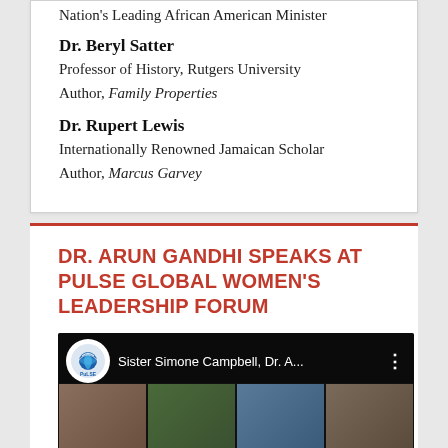Nation's Leading African American Minister
Dr. Beryl Satter
Professor of History, Rutgers University
Author, Family Properties
Dr. Rupert Lewis
Internationally Renowned Jamaican Scholar
Author, Marcus Garvey
DR. ARUN GANDHI SPEAKS AT PULSE GLOBAL WOMEN'S LEADERSHIP FORUM
[Figure (screenshot): Video thumbnail showing a virtual meeting/webinar with multiple participants including Sister Simone Campbell and Dr. Arun Gandhi. The Pulse logo (globe with signal waves) is visible in the top left.]